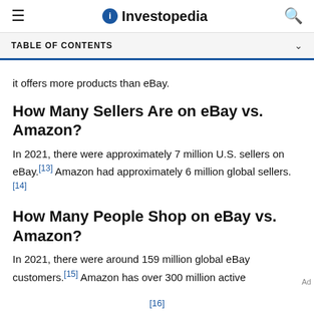Investopedia
TABLE OF CONTENTS
it offers more products than eBay.
How Many Sellers Are on eBay vs. Amazon?
In 2021, there were approximately 7 million U.S. sellers on eBay.[13] Amazon had approximately 6 million global sellers.[14]
How Many People Shop on eBay vs. Amazon?
In 2021, there were around 159 million global eBay customers.[15] Amazon has over 300 million active
[16]